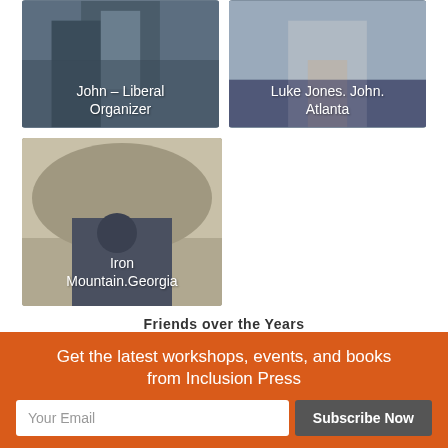[Figure (photo): Photo of John – Liberal Organizer, person with a badge/lanyard]
[Figure (photo): Photo of Luke Jones. John. Atlanta, child near a dog or animal]
[Figure (photo): Photo at Iron Mountain. Georgia, person standing against a rock face]
Friends over the Years
Get the latest workshops, events, and books from Inclusion Press
Your Email
Subscribe Now